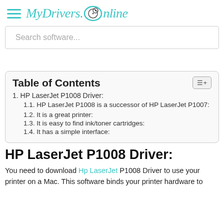MyDrivers.Online
Search software...
Table of Contents
1. HP LaserJet P1008 Driver:
1.1. HP LaserJet P1008 is a successor of HP LaserJet P1007:
1.2. It is a great printer:
1.3. It is easy to find ink/toner cartridges:
1.4. It has a simple interface:
HP LaserJet P1008 Driver:
You need to download Hp LaserJet P1008 Driver to use your printer on a Mac. This software binds your printer hardware to